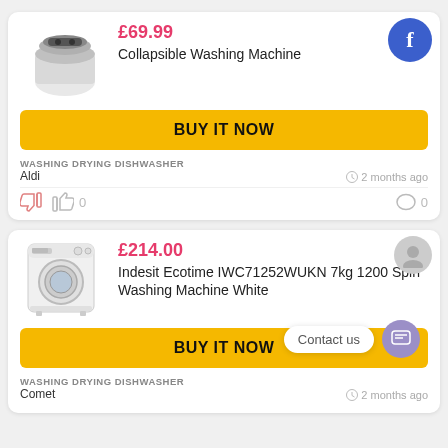[Figure (photo): Collapsible washing machine product image - small white/grey portable appliance]
£69.99
Collapsible Washing Machine
BUY IT NOW
WASHING DRYING DISHWASHER
Aldi
2 months ago
0
0
[Figure (photo): Indesit front-loading washing machine product image - white appliance]
£214.00
Indesit Ecotime IWC71252WUKN 7kg 1200 Spin Washing Machine White
BUY IT NOW
WASHING DRYING DISHWASHER
Comet
2 months ago
Contact us